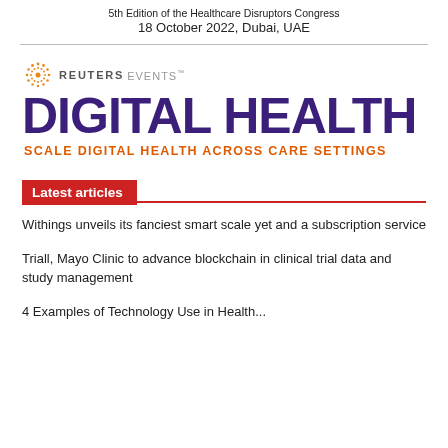5th Edition of the Healthcare Disruptors Congress
18 October 2022, Dubai, UAE
[Figure (logo): Reuters Events logo with orange dotted circle icon, REUTERS in bold grey, EVENTS in light grey]
DIGITAL HEALTH
SCALE DIGITAL HEALTH ACROSS CARE SETTINGS
Latest articles
Withings unveils its fanciest smart scale yet and a subscription service
Triall, Mayo Clinic to advance blockchain in clinical trial data and study management
4 Examples of Technology Use in Health...